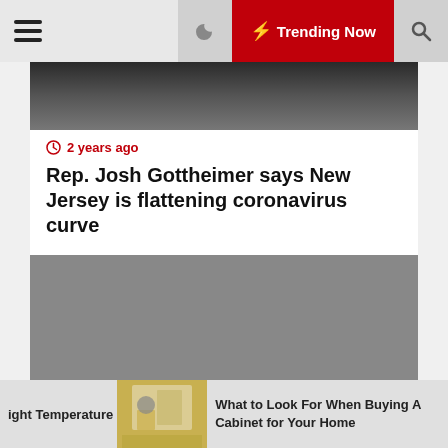Trending Now
[Figure (photo): Partially visible photo of a person, cropped at top]
2 years ago
Rep. Josh Gottheimer says New Jersey is flattening coronavirus curve
[Figure (photo): Gray placeholder image for second article]
2 years ago
Chicken Coop Plans and Kits :::
ight Temperature  What to Look For When Buying A Cabinet for Your Home